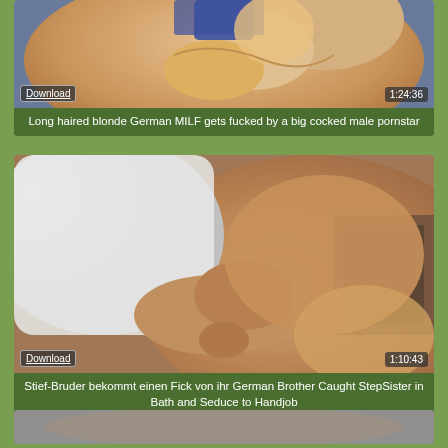[Figure (photo): Video thumbnail showing a long haired blonde woman, close-up shot]
Long haired blonde German MILF gets fucked by a big cocked male pornstar
[Figure (photo): Video thumbnail showing two people in a close physical encounter]
Stief-Bruder bekommt einen Fick von ihr German Brother Caught StepSister in Bath and Seduce to Handjob
[Figure (photo): Partially visible video thumbnail at bottom of page]